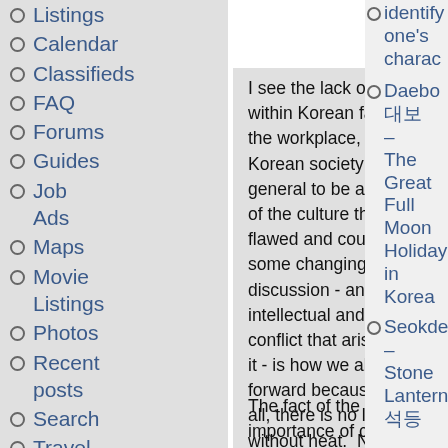Listings
Calendar
Classifieds
FAQ
Forums
Guides
Job Ads
Maps
Movie Listings
Photos
Recent posts
Search
Travel
Videos
I see the lack of conflict within Korean families, the workplace, and in Korean society in general to be an aspect of the culture that is flawed and could do with some changing.  Honest discussion - and the intellectual and verbal conflict that arises from it - is how we all move forward because, after all, there is no light without heat.  No light (quite literally if you look at the satellite image of the country at night) has been created in North Korea because there is no healthy disagreement with how things are being done.  Everyone just does what they are told, nothing moves forward, and North Korea is famously stuck in the past because of it.
The fact of the importance of conflict is
identify one's charac
Daebo 대보 – The Great Full Moon Holiday in Korea
Seokde – Stone Lantern 석등